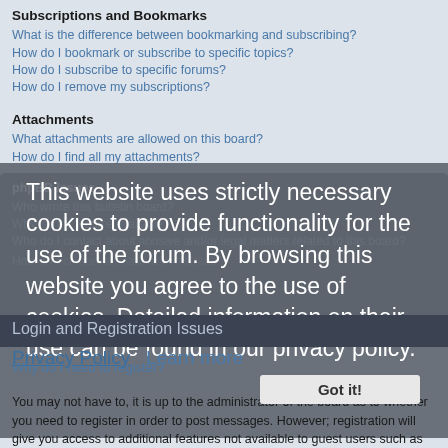Subscriptions and Bookmarks
What is the difference between bookmarking and subscribing?
How do I bookmark or subscribe to specific topics?
How do I subscribe to specific forums?
How do I remove my subscriptions?
Attachments
What attachments are allowed on this board?
How do I find all my attachments?
phpBB Issues
Who wrote this bulletin board?
Why isn't X feature available?
Who do I contact about abusive and/or legal matters related to this board?
How do I contact a board administrator?
This website uses strictly necessary cookies to provide functionality for the use of the forum. By browsing this website you agree to the use of cookies. Detailed information on their use can be found in our privacy policy.
Login and Registration Issues
Privacy Policy   Learn more
Got it!
Why do I need to register?
You may not have to, it is up to the administrator of the board as to whether you need to register in order to post messages. However; registration will give you access to additional features not available to guest users such as definable avatar images, private messaging, emailing of fellow users, usergroup subscription, etc. It only takes a few moments to register so it is recommended you do so.